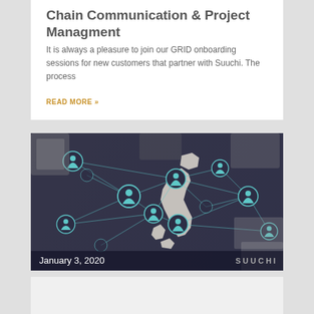Chain Communication & Project Managment
It is always a pleasure to join our GRID onboarding sessions for new customers that partner with Suuchi. The process
READ MORE »
[Figure (photo): A network connectivity image showing a map of Japan overlaid with glowing teal social/user icons connected by lines, with people using laptops and tablets around the edges. Date overlay shows January 3, 2020 and brand logo SUUCHI in the bottom right.]